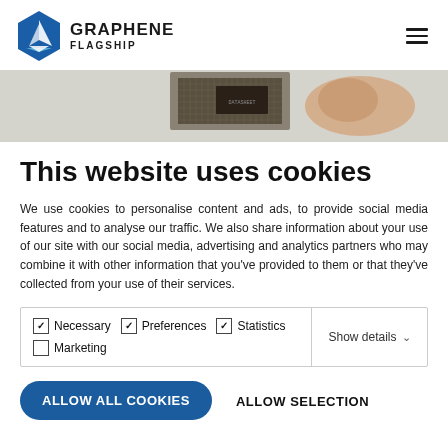[Figure (logo): Graphene Flagship logo — blue hexagon with white sail/boat icon and text GRAPHENE FLAGSHIP to the right]
[Figure (photo): Close-up photo of a person holding a computer CPU chip between fingers against a light grey background]
This website uses cookies
We use cookies to personalise content and ads, to provide social media features and to analyse our traffic. We also share information about your use of our site with our social media, advertising and analytics partners who may combine it with other information that you've provided to them or that they've collected from your use of their services.
| ✓ Necessary | ✓ Preferences | ✓ Statistics | Show details ∨ |
| ☐ Marketing |  |  |  |
ALLOW ALL COOKIES    ALLOW SELECTION